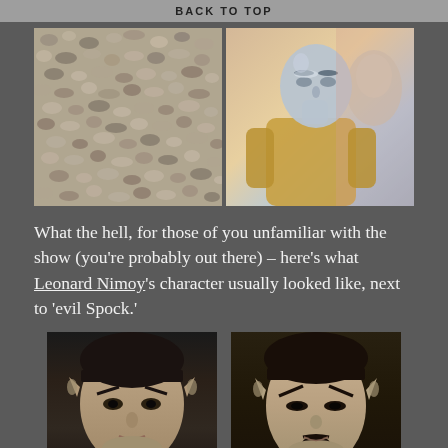BACK TO TOP
[Figure (photo): Two side-by-side photos: left shows a close-up of gravel/rocks; right shows a stylized/silver-tinted image of a person (Spock character) with another figure in background]
What the hell, for those of you unfamiliar with the show (you're probably out there) – here's what Leonard Nimoy's character usually looked like, next to 'evil Spock.'
[Figure (photo): Two side-by-side black and white photos of Leonard Nimoy as Spock (left) and evil Spock with goatee (right) from Star Trek]